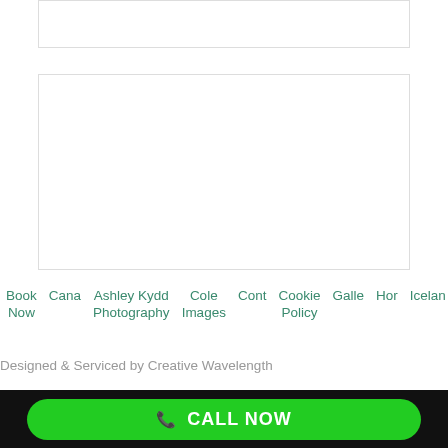[Figure (other): Empty white content box with border (top)]
[Figure (other): Empty white content box with border (main)]
Book Now  Cana  Ashley Kydd Photography  Cole Images  Cont  Cookie Policy  Galle  Hor  Icelan  A
Designed & Serviced by Creative Wavelength
CALL NOW